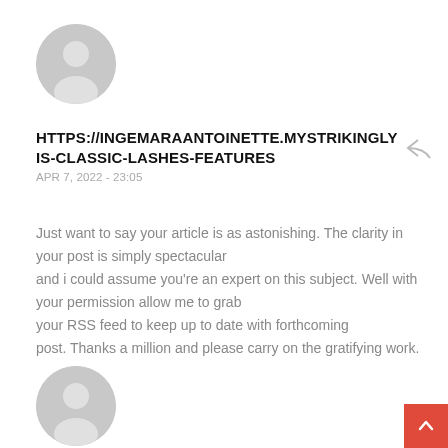[Figure (illustration): Gray circular avatar icon with silhouette of a person, top of page]
HTTPS://INGEMARAANTOINETTE.MYSTRIKINGLY IS-CLASSIC-LASHES-FEATURES
APR 7, 2022 - 23:05
Just want to say your article is as astonishing. The clarity in your post is simply spectacular and i could assume you're an expert on this subject. Well with your permission allow me to grab your RSS feed to keep up to date with forthcoming post. Thanks a million and please carry on the gratifying work.
[Figure (illustration): Gray circular avatar icon with silhouette of a person, bottom of page]